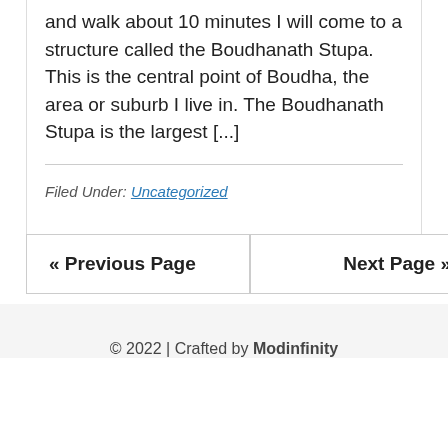and walk about 10 minutes I will come to a structure called the Boudhanath Stupa. This is the central point of Boudha, the area or suburb I live in. The Boudhanath Stupa is the largest [...]
Filed Under: Uncategorized
« Previous Page
Next Page »
© 2022 | Crafted by Modinfinity